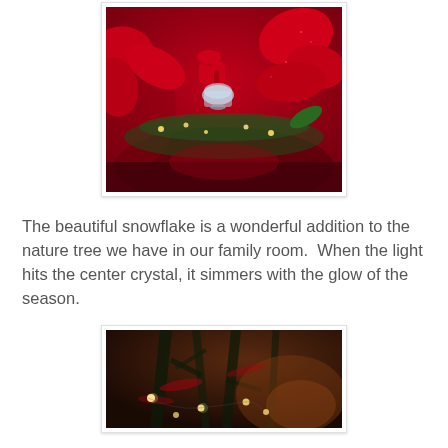[Figure (photo): Close-up photo of red Christmas decorations including poinsettias, green garland with lights, and a small red KitchenAid mixer ornament with a glass bowl, on a holiday tree or arrangement.]
The beautiful snowflake is a wonderful addition to the nature tree we have in our family room.  When the light hits the center crystal, it simmers with the glow of the season.
[Figure (photo): Dark photo showing a Christmas tree with twinkling lights and red decorations, partially visible, with a warm glowing background.]